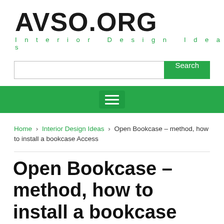AVSO.ORG — Interior Design Ideas
Search
[Figure (screenshot): Green navigation bar with hamburger menu icon]
Home › Interior Design Ideas › Open Bookcase – method, how to install a bookcase Access
Open Bookcase – method, how to install a bookcase Access